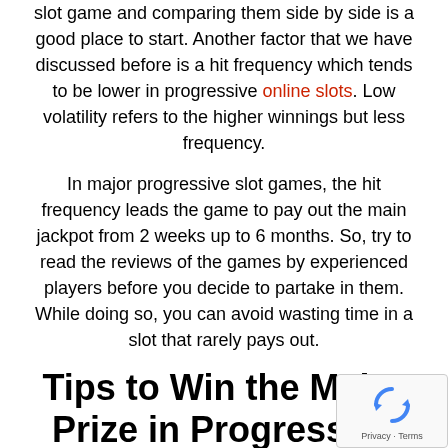slot game and comparing them side by side is a good place to start. Another factor that we have discussed before is a hit frequency which tends to be lower in progressive online slots. Low volatility refers to the higher winnings but less frequency.
In major progressive slot games, the hit frequency leads the game to pay out the main jackpot from 2 weeks up to 6 months. So, try to read the reviews of the games by experienced players before you decide to partake in them. While doing so, you can avoid wasting time in a slot that rarely pays out.
Tips to Win the Major Prize in Progressive Slot Machines
[Figure (other): reCAPTCHA widget with spinning arrows icon and Privacy - Terms text]